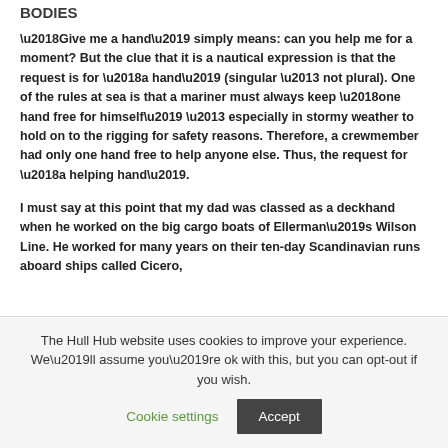BODIES
‘Give me a hand’ simply means: can you help me for a moment? But the clue that it is a nautical expression is that the request is for ‘a hand’ (singular – not plural). One of the rules at sea is that a mariner must always keep ‘one hand free for himself’ – especially in stormy weather to hold on to the rigging for safety reasons. Therefore, a crewmember had only one hand free to help anyone else. Thus, the request for ‘a helping hand’.
I must say at this point that my dad was classed as a deckhand when he worked on the big cargo boats of Ellerman’s Wilson Line. He worked for many years on their ten-day Scandinavian runs aboard ships called Cicero,
The Hull Hub website uses cookies to improve your experience. We’ll assume you’re ok with this, but you can opt-out if you wish.
Cookie settings
Accept